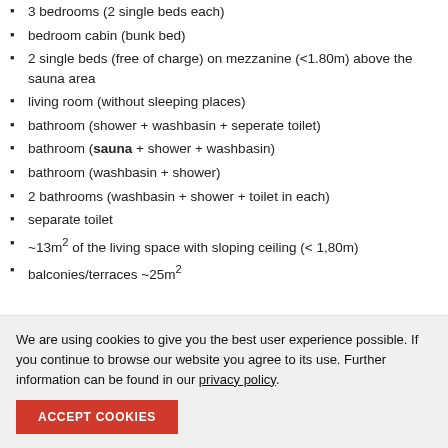3 bedrooms (2 single beds each)
bedroom cabin (bunk bed)
2 single beds (free of charge) on mezzanine (<1.80m) above the sauna area
living room (without sleeping places)
bathroom (shower + washbasin + seperate toilet)
bathroom (sauna + shower + washbasin)
bathroom (washbasin + shower)
2 bathrooms (washbasin + shower + toilet in each)
separate toilet
~13m² of the living space with sloping ceiling (< 1,80m)
balconies/terraces ~25m²
We are using cookies to give you the best user experience possible. If you continue to browse our website you agree to its use. Further information can be found in our privacy policy.
ACCEPT COOKIES